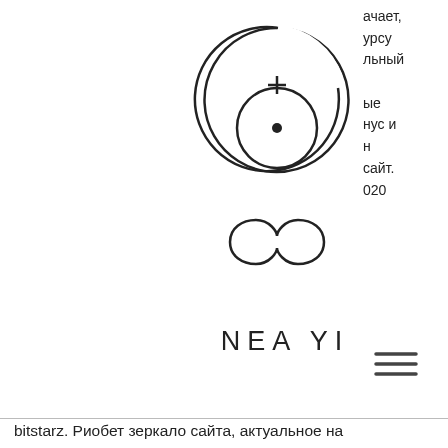[Figure (logo): Neayi logo: circular symbol with infinity sign below it, above the text NEA YI]
NEA YI
ачает, урсу льный ые нус и н сайт. 020
bitstarz. Риобет зеркало сайта, актуальное на
As someone who's about to deposit real money in an online bitcoin casino, it's just natural to wonder' Which are the best bitcoin casinos, битстарз казино бездепозитный бонус за регистрацию. Is bitcoin gambling safe? Once you've weighed up all the pros and cons, choosing your online casino provider should be substantially simpler. No matter what solution you go for, ensuring the payment and withdrawal process is transparent is vital, as is checking that the